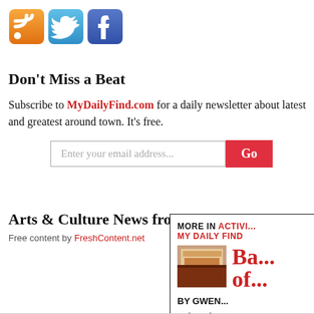[Figure (logo): Three social media icons: RSS (orange), Twitter (blue bird), Facebook (blue f)]
Don't Miss a Beat
Subscribe to MyDailyFind.com for a daily newsletter about latest and greatest around town. It's free.
[Figure (other): Email subscription form with text input 'Enter your email address...' and red 'Go' button]
Arts & Culture News from Around the Web
Free content by FreshContent.net
MORE IN ACTIVI... MY DAILY FIND
[Figure (photo): Small image of a baked dessert]
Ba... of...
BY GWEN... and trendy... and desse...